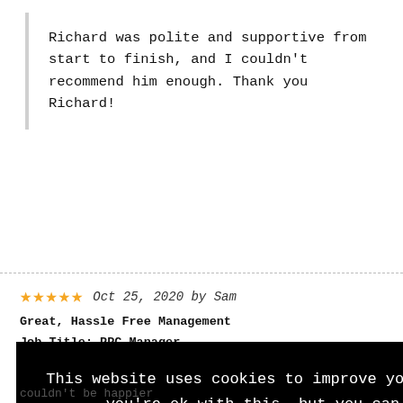Richard was polite and supportive from start to finish, and I couldn't recommend him enough. Thank you Richard!
Oct 25, 2020 by Sam
Great, Hassle Free Management
Job Title: PPC Manager
for a ...dly, open ...nd kept me ...e company ...lication.
[Figure (screenshot): Cookie consent banner overlay with black background reading: 'This website uses cookies to improve your experience. We'll assume you're ok with this, but you can opt-out if you wish.' with 'Cookie settings' (green) and 'ACCEPT' buttons]
couldn't be happier